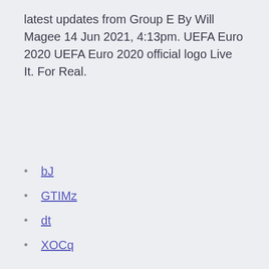latest updates from Group E By Will Magee 14 Jun 2021, 4:13pm. UEFA Euro 2020 UEFA Euro 2020 official logo Live It. For Real.
bJ
GTIMz
dt
XOCq